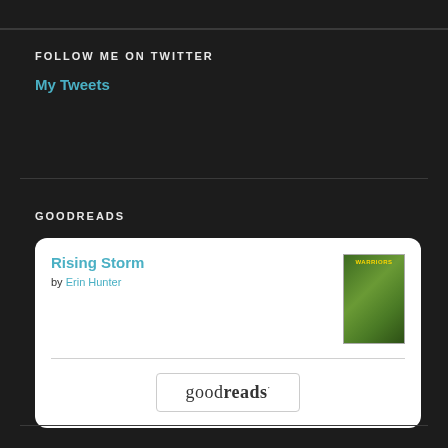FOLLOW ME ON TWITTER
My Tweets
GOODREADS
[Figure (screenshot): Goodreads widget showing book 'Rising Storm' by Erin Hunter with book cover image and goodreads logo button]
Rising Storm by Erin Hunter
goodreads